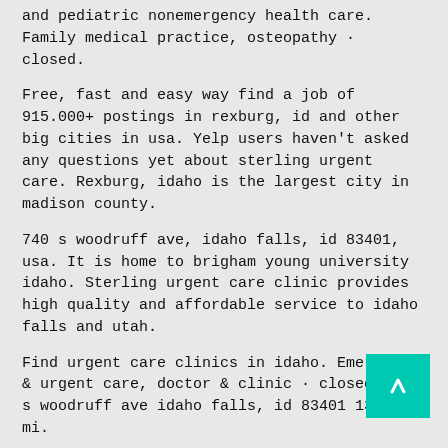and pediatric nonemergency health care. Family medical practice, osteopathy · closed.
Free, fast and easy way find a job of 915.000+ postings in rexburg, id and other big cities in usa. Yelp users haven't asked any questions yet about sterling urgent care. Rexburg, idaho is the largest city in madison county.
740 s woodruff ave, idaho falls, id 83401, usa. It is home to brigham young university idaho. Sterling urgent care clinic provides high quality and affordable service to idaho falls and utah.
Find urgent care clinics in idaho. Emergency & urgent care, doctor & clinic · closed. 740 s woodruff ave idaho falls, id 83401 13.2 mi.
7017 s daisy lane idaho falls, id 83402 T o learn more about rexburg, idaho visit the city's website at rexburg.org 1,811 likes · 23 talking about this · 285 were here.
Emergency & urgent care, doctor & clinic. Ridgeline medical